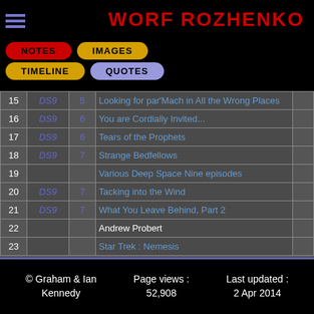WORF ROZHENKO
| # | Series | Season | Title |  |
| --- | --- | --- | --- | --- |
| 15 | DS9 | 5 | Looking for par'Mach in All the Wrong Places |  |
| 16 | DS9 | 6 | You are Cordially Invited... |  |
| 17 | DS9 | 6 | Tears of the Prophets |  |
| 18 | DS9 | 7 | Strange Bedfellows |  |
| 19 |  |  | Various Deep Space Nine episodes |  |
| 20 | DS9 | 7 | Tacking into the Wind |  |
| 21 | DS9 | 7 | What You Leave Behind, Part 2 |  |
| 22 |  |  | Andrew Probert |  |
| 23 |  |  | Star Trek : Nemesis |  |
© Graham & Ian Kennedy   Page views : 52,908   Last updated : 2 Apr 2014